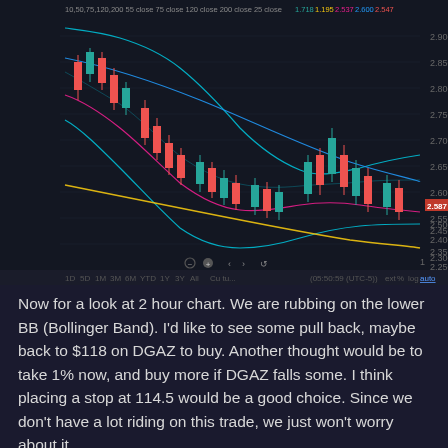[Figure (continuous-plot): 2-hour candlestick chart of a financial instrument (likely natural gas futures) on a dark background. Shows red/green candlesticks with Bollinger Bands (cyan), moving averages (yellow, magenta, blue), and price labels on the right axis ranging from approximately 2.250 to 2.900. Date axis shows Sep-Nov timeframe. Current price label shows 2.587 highlighted in red on the right axis. Bottom toolbar shows timeframe selectors (1D, 5D, 1M, 3M, 6M, YTD, 1Y, 3Y, All) and UTC-5 timestamp 05:50:59.]
Now for a look at 2 hour chart. We are rubbing on the lower BB (Bollinger Band). I'd like to see some pull back, maybe back to $118 on DGAZ to buy. Another thought would be to take 1% now, and buy more if DGAZ falls some. I think placing a stop at 114.5 would be a good choice. Since we don't have a lot riding on this trade, we just won't worry about it.